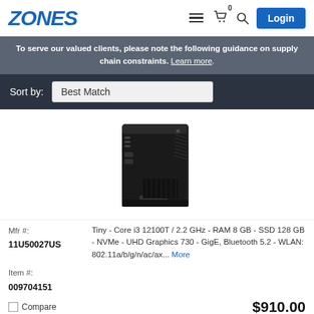ZONES
To serve our valued clients, please note the following guidance on supply chain constraints. Learn more.
Sort by: Best Match
[Figure (photo): Lenovo ThinkCentre Tiny desktop mini PC, black, shown from a slight angle displaying front ports and vents]
Mfr #: 11U50027US
Item #: 009704151
Tiny - Core i3 12100T / 2.2 GHz - RAM 8 GB - SSD 128 GB - NVMe - UHD Graphics 730 - GigE, Bluetooth 5.2 - WLAN: 802.11a/b/g/n/ac/ax... More
$910.00